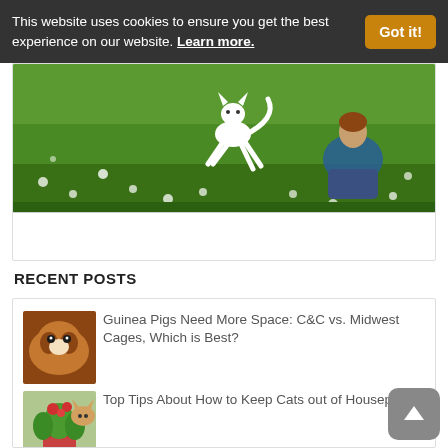This website uses cookies to ensure you get the best experience on our website. Learn more.
[Figure (photo): White cat jumping in a green field with dandelions, person sitting behind]
RECENT POSTS
[Figure (photo): Guinea pig close-up, brown and white]
Guinea Pigs Need More Space: C&C vs. Midwest Cages, Which is Best?
[Figure (photo): Cat near houseplants with red flowers]
Top Tips About How to Keep Cats out of Houseplants
[Figure (photo): Pet for Christmas gift, partial image]
The Best Pets for Christmas Gift-Giving This Year: You